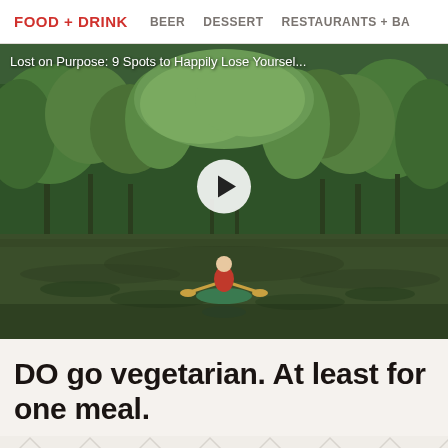FOOD + DRINK   BEER   DESSERT   RESTAURANTS + BA
[Figure (photo): Video thumbnail of a person kayaking in a green forested swamp/bayou scene with cypress trees. Overlay text: 'Lost on Purpose: 9 Spots to Happily Lose Yoursel...' with a white play button in the center.]
DO go vegetarian. At least for one meal.
[Figure (illustration): Diamond/chevron repeating pattern in light gray at bottom of page.]